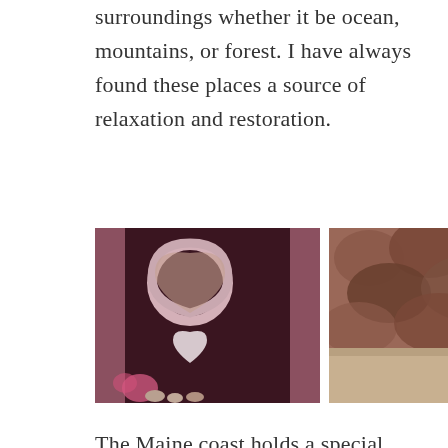surroundings whether it be ocean, mountains, or forest. I have always found these places a source of relaxation and restoration.
[Figure (photo): Left photo: decorative heart-shaped wreaths hanging on a dark door with small flowers and stones at the base. Right photo: person sitting in a colorful striped lawn chair facing a rocky hillside, with a stack of balanced stones nearby.]
The Maine coast holds a special place in my heart, however. Something about the wide expanse of sand and sea and sky, gives me permission to pause, to breathe in the salty brine, and breathe out all my worries. At the